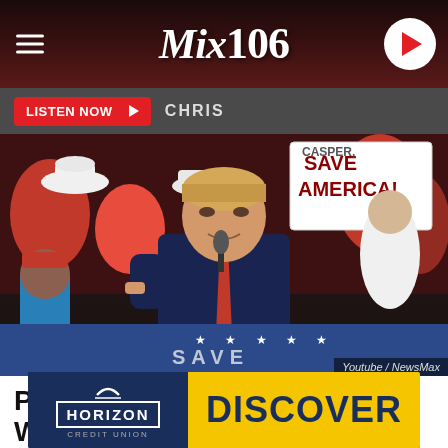Mix 106
LISTEN NOW ▶  CHRIS
[Figure (photo): Donald Trump speaking at a Save America rally in Casper, WY, with supporters in MAGA hats and cowboy hats holding Save America signs in the background.]
Youtube / NewsMax
PRESIDENT TRUMP HEADS WEST
[Figure (infographic): Horizon Credit Union advertisement banner with DISCOVER text in yellow on blue background.]